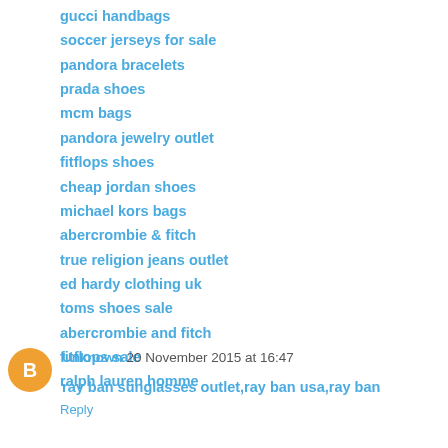gucci handbags
soccer jerseys for sale
pandora bracelets
prada shoes
mcm bags
pandora jewelry outlet
fitflops shoes
cheap jordan shoes
michael kors bags
abercrombie & fitch
true religion jeans outlet
ed hardy clothing uk
toms shoes sale
abercrombie and fitch
fitflops sale
ralph lauren homme
Reply
Unknown 20 November 2015 at 16:47
ray ban sunglasses outlet,ray ban usa,ray ban